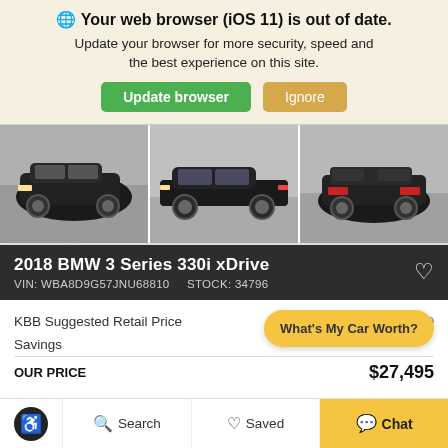Your web browser (iOS 11) is out of date. Update your browser for more security, speed and the best experience on this site.
[Figure (screenshot): Three photos of a black 2018 BMW 3 Series 330i xDrive — front 3/4, side profile, and rear 3/4 views]
2018 BMW 3 Series 330i xDrive
VIN: WBA8D9G57JNU68810    STOCK: 34796
|  |  |
| --- | --- |
| KBB Suggested Retail Price | $33,000 |
| Savings |  |
| OUR PRICE | $27,495 |
What's My Car Worth?
Search   Saved   Chat